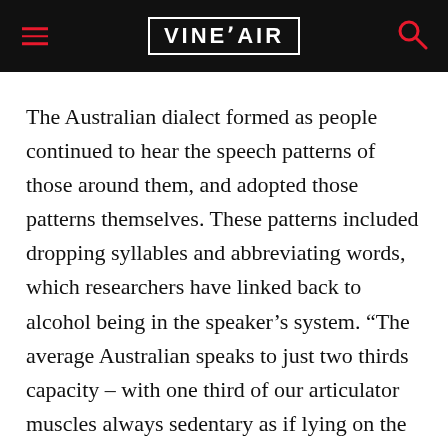VINEPAIR
The Australian dialect formed as people continued to hear the speech patterns of those around them, and adopted those patterns themselves. These patterns included dropping syllables and abbreviating words, which researchers have linked back to alcohol being in the speaker’s system. “The average Australian speaks to just two thirds capacity – with one third of our articulator muscles always sedentary as if lying on the couch,” says Frenkel.